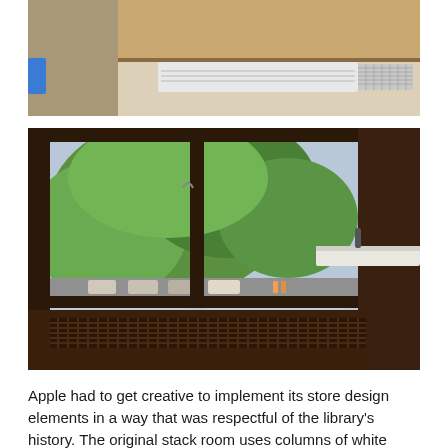[Figure (photo): Interior photo showing wooden cabinets and a white HVAC unit mounted below, with a blue device visible on the left side. Apple store interior architectural detail.]
[Figure (photo): Interior photo of a large dark wood-framed window looking out onto a tree-lined street. The window sill has a decorative metal grate. A dark wood staircase railing is visible on the right.]
Apple had to get creative to implement its store design elements in a way that was respectful of the library's history. The original stack room uses columns of white Vermont Marble to reference the towering book stacks that once filled the room. Using a feature now standard to its newer store designs,